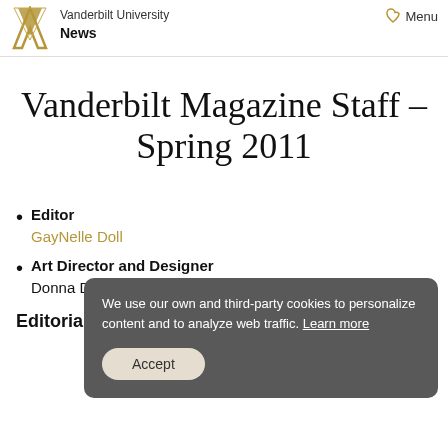Vanderbilt University  Menu  News
Vanderbilt Magazine Staff – Spring 2011
Editor
GayNelle Doll
Art Director and Designer
Donna DeVore Pritchett
Editorial